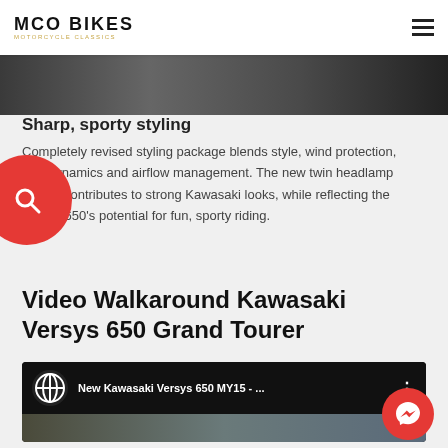MCO BIKES
[Figure (photo): Partial motorcycle photo strip at top of page]
Sharp, sporty styling
Completely revised styling package blends style, wind protection, aerodynamics and airflow management. The new twin headlamp design contributes to strong Kawasaki looks, while reflecting the Versys 650’s potential for fun, sporty riding.
Video Walkaround Kawasaki Versys 650 Grand Tourer
[Figure (screenshot): YouTube video embed showing 'New Kawasaki Versys 650 MY15 - ...' with channel logo and three-dot menu]